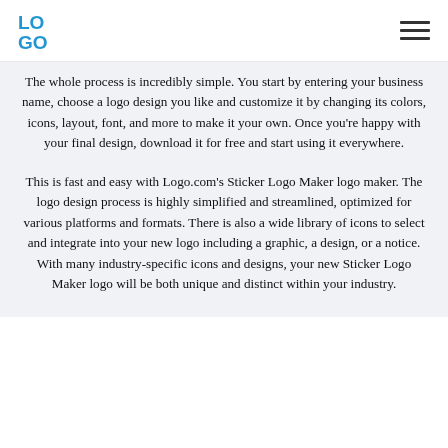LOGO (logo mark) | navigation hamburger menu
The whole process is incredibly simple. You start by entering your business name, choose a logo design you like and customize it by changing its colors, icons, layout, font, and more to make it your own. Once you're happy with your final design, download it for free and start using it everywhere.
This is fast and easy with Logo.com's Sticker Logo Maker logo maker. The logo design process is highly simplified and streamlined, optimized for various platforms and formats. There is also a wide library of icons to select and integrate into your new logo including a graphic, a design, or a notice. With many industry-specific icons and designs, your new Sticker Logo Maker logo will be both unique and distinct within your industry.